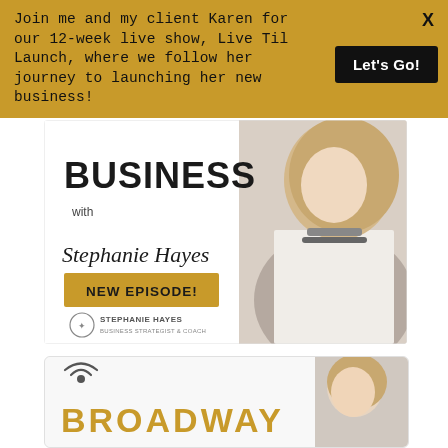Join me and my client Karen for our 12-week live show, Live Til Launch, where we follow her journey to launching her new business!
Let's Go!
[Figure (screenshot): Podcast promotional card for 'Business with Stephanie Hayes' showing bold BUSINESS text, cursive Stephanie Hayes signature, gold NEW EPISODE! button, and a photo of a blonde woman in white top]
[Figure (screenshot): Podcast card for Broadway show with wifi/broadcast icon and gold BROADWAY text, partial view of a person]